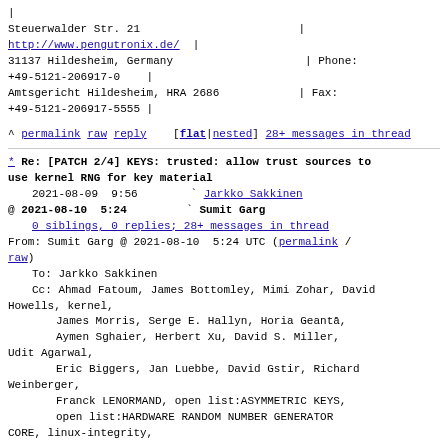| Steuerwalder Str. 21                       | http://www.pengutronix.de/  | 31137 Hildesheim, Germany                   | Phone: +49-5121-206917-0    | Amtsgericht Hildesheim, HRA 2686            | Fax: +49-5121-206917-5555 |
^ permalink raw reply    [flat|nested] 28+ messages in thread
* Re: [PATCH 2/4] KEYS: trusted: allow trust sources to use kernel RNG for key material
    2021-08-09  9:56       ` Jarkko Sakkinen
@ 2021-08-10  5:24         ` Sumit Garg
    0 siblings, 0 replies; 28+ messages in thread
From: Sumit Garg @ 2021-08-10  5:24 UTC (permalink / raw)
    To: Jarkko Sakkinen
    Cc: Ahmad Fatoum, James Bottomley, Mimi Zohar, David Howells, kernel,
        James Morris, Serge E. Hallyn, Horia Geantă,
        Aymen Sghaier, Herbert Xu, David S. Miller, Udit Agarwal,
        Eric Biggers, Jan Luebbe, David Gstir, Richard Weinberger,
        Franck LENORMAND, open list:ASYMMETRIC KEYS,
        open list:HARDWARE RANDOM NUMBER GENERATOR CORE, linux-integrity,